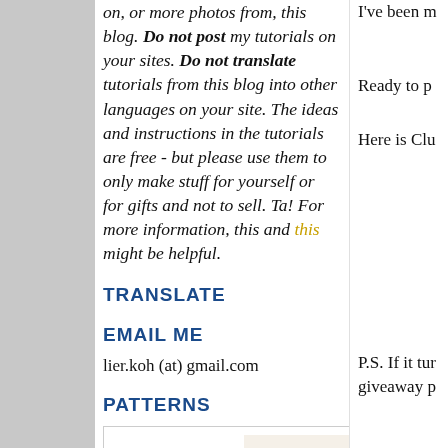on, or more photos from, this blog. Do not post my tutorials on your sites. Do not translate tutorials from this blog into other languages on your site. The ideas and instructions in the tutorials are free - but please use them to only make stuff for yourself or for gifts and not to sell. Ta! For more information, this and this might be helpful.
I've been m
Ready to p
Here is Clu
TRANSLATE
EMAIL ME
lier.koh (at) gmail.com
PATTERNS
[Figure (photo): Photo of craft patterns: mushroom toadstool plush and a pink bunny/pig plush pattern book]
P.S. If it tur giveaway p